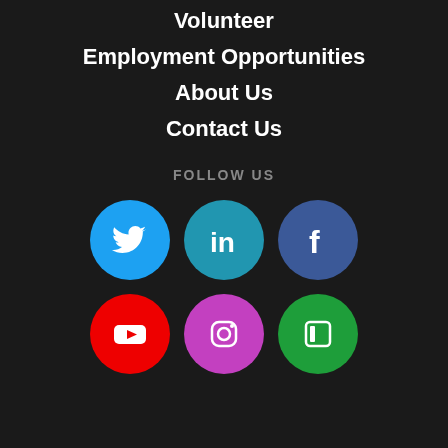Volunteer
Employment Opportunities
About Us
Contact Us
FOLLOW US
[Figure (infographic): Six social media icons in two rows: Twitter, LinkedIn, Facebook (top row); YouTube, Instagram, and a green app icon (bottom row)]